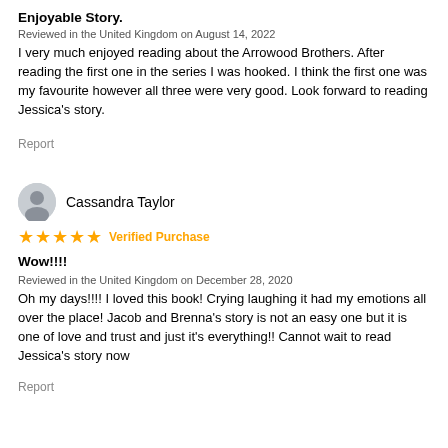Enjoyable Story.
Reviewed in the United Kingdom on August 14, 2022
I very much enjoyed reading about the Arrowood Brothers. After reading the first one in the series I was hooked. I think the first one was my favourite however all three were very good. Look forward to reading Jessica's story.
Report
Cassandra Taylor
★★★★★ Verified Purchase
Wow!!!!
Reviewed in the United Kingdom on December 28, 2020
Oh my days!!!! I loved this book! Crying laughing it had my emotions all over the place! Jacob and Brenna's story is not an easy one but it is one of love and trust and just it's everything!! Cannot wait to read Jessica's story now
Report